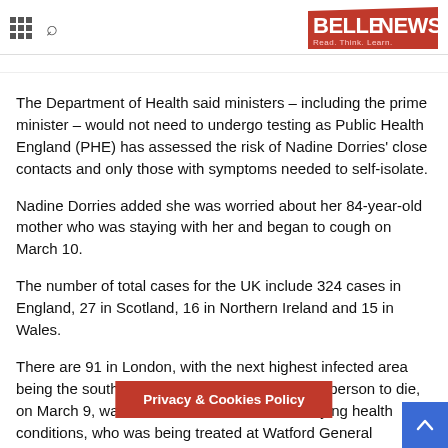BELLENEWS Read. Think. Learn.
The Department of Health said ministers – including the prime minister – would not need to undergo testing as Public Health England (PHE) has assessed the risk of Nadine Dorries' close contacts and only those with symptoms needed to self-isolate.
Nadine Dorries added she was worried about her 84-year-old mother who was staying with her and began to cough on March 10.
The number of total cases for the UK include 324 cases in England, 27 in Scotland, 16 in Northern Ireland and 15 in Wales.
There are 91 in London, with the next highest infected area being the south-east, with 51 cases. The latest person to die, on March 9, was a man in his 80s, with underlying health conditions, who was being treated at Watford General Hospital.
The man caught the virus in th... ing to trace who he had been in contact wi...